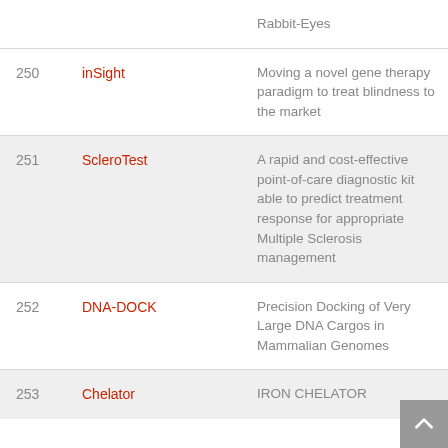| # | Name | Description |
| --- | --- | --- |
|  |  | Rabbit-Eyes |
| 250 | inSight | Moving a novel gene therapy paradigm to treat blindness to the market |
| 251 | ScleroTest | A rapid and cost-effective point-of-care diagnostic kit able to predict treatment response for appropriate Multiple Sclerosis management |
| 252 | DNA-DOCK | Precision Docking of Very Large DNA Cargos in Mammalian Genomes |
| 253 | Chelator | IRON CHELATOR |